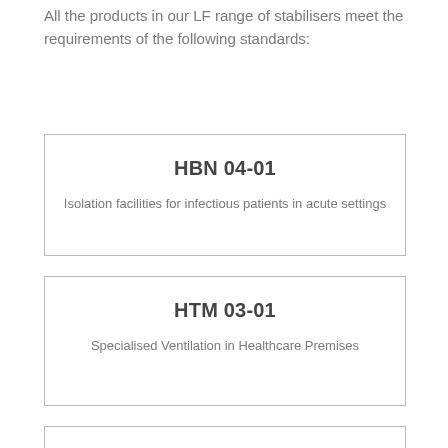All the products in our LF range of stabilisers meet the requirements of the following standards:
HBN 04-01
Isolation facilities for infectious patients in acute settings
HTM 03-01
Specialised Ventilation in Healthcare Premises